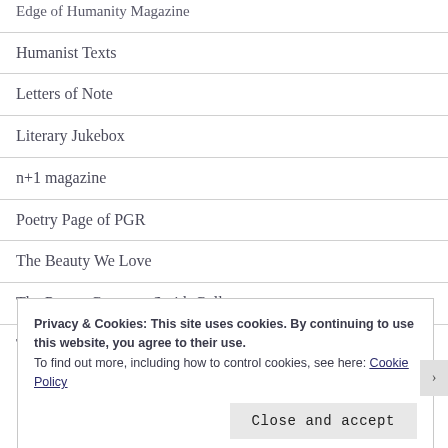Edge of Humanity Magazine
Humanist Texts
Letters of Note
Literary Jukebox
n+1 magazine
Poetry Page of PGR
The Beauty We Love
The Poetry Center at Smith College
Times Haiku
Privacy & Cookies: This site uses cookies. By continuing to use this website, you agree to their use. To find out more, including how to control cookies, see here: Cookie Policy
Close and accept
REPORT THIS AD